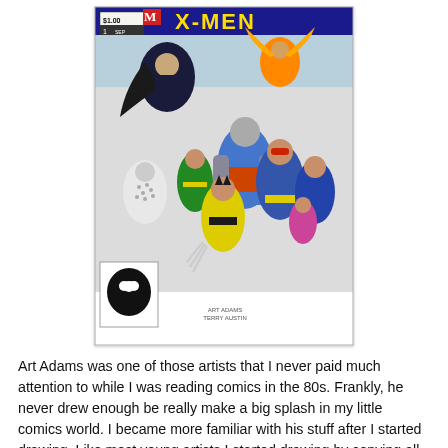[Figure (illustration): Comic book cover for X-Men issue #1, priced at $1.00, Sep. Features multiple Marvel superhero characters including Wolverine in yellow costume, Colossus, Storm, and others. A small Spider-Man logo appears in the bottom left corner of the cover.]
Art Adams was one of those artists that I never paid much attention to while I was reading comics in the 80s. Frankly, he never drew enough be really make a big splash in my little comics world. I became more familiar with his stuff after I started drawing. Like most young artists I started drawing by starting copying all the guys I really liked. It's one of those practices that in a way can teach you more than you would